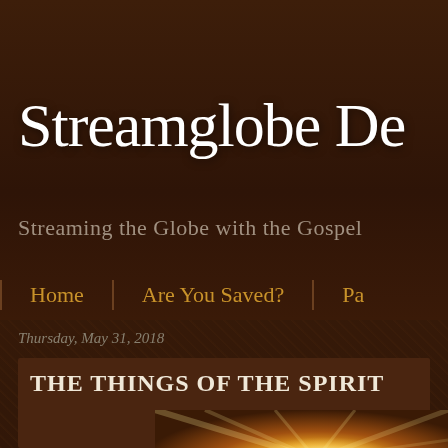Streamglobe De
Streaming the Globe with the Gospel
Home | Are You Saved? | Pa
Thursday, May 31, 2018
THE THINGS OF THE SPIRIT
[Figure (photo): Bright golden sunlight rays bursting through foliage, warm yellow-orange tones]